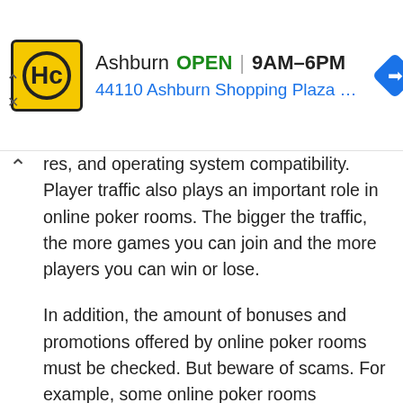[Figure (other): Advertisement banner for HC (Home Depot or similar) store in Ashburn, showing logo, OPEN status, hours 9AM-6PM, address 44110 Ashburn Shopping Plaza 190 A..., and navigation arrow icon]
res, and operating system compatibility. Player traffic also plays an important role in online poker rooms. The bigger the traffic, the more games you can join and the more players you can win or lose.
In addition, the amount of bonuses and promotions offered by online poker rooms must be checked. But beware of scams. For example, some online poker rooms advertise as offering huge bonuses. Sometimes it might not be a scam. However, it is always advisable to play at reputable poker rooms that offer reasonable bonuses. Other important factors to consider when choosing an online poker room are financial stability, accessible customer service, and easy competitions. Player reviews are considered to be one of the best sources to compare